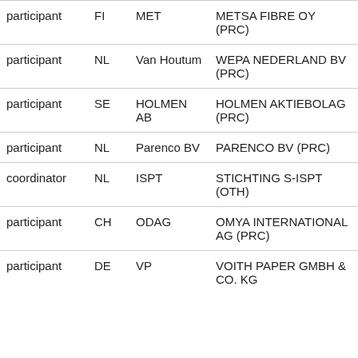| participant | FI | MET | METSA FIBRE OY (PRC) |
| participant | NL | Van Houtum | WEPA NEDERLAND BV (PRC) |
| participant | SE | HOLMEN AB | HOLMEN AKTIEBOLAG (PRC) |
| participant | NL | Parenco BV | PARENCO BV (PRC) |
| coordinator | NL | ISPT | STICHTING S-ISPT (OTH) |
| participant | CH | ODAG | OMYA INTERNATIONAL AG (PRC) |
| participant | DE | VP | VOITH PAPER GMBH & CO. KG |